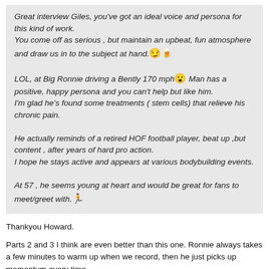Great interview Giles, you've got an ideal voice and persona for this kind of work.
You come off as serious , but maintain an upbeat, fun atmosphere and draw us in to the subject at hand. [emoji]

LOL, at Big Ronnie driving a Bently 170 mph [emoji] Man has a positive, happy persona and you can't help but like him.
I'm glad he's found some treatments ( stem cells) that relieve his chronic pain.

He actually reminds of a retired HOF football player, beat up ,but content , after years of hard pro action.
I hope he stays active and appears at various bodybuilding events.

At 57 , he seems young at heart and would be great for fans to meet/greet with. [emoji]
Thankyou Howard.
Parts 2 and 3 I think are even better than this one. Ronnie always takes a few minutes to warm up when we record, then he just picks up momentum every time.
I find once you get him on a subject he really wants to discuss, he's away. In this part one it was when I brought up the deep sea fishing, then his energy just came alive.